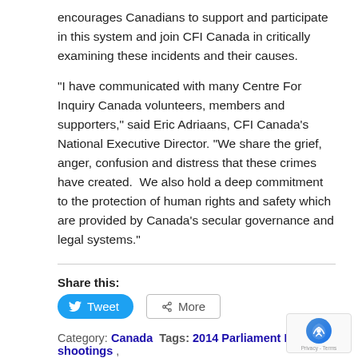encourages Canadians to support and participate in this system and join CFI Canada in critically examining these incidents and their causes.
“I have communicated with many Centre For Inquiry Canada volunteers, members and supporters,” said Eric Adriaans, CFI Canada’s National Executive Director. “We share the grief, anger, confusion and distress that these crimes have created.  We also hold a deep commitment to the protection of human rights and safety which are provided by Canada’s secular governance and legal systems.”
Share this:
Tweet  More
Category: Canada  Tags: 2014 Parliament Hill shootings ,